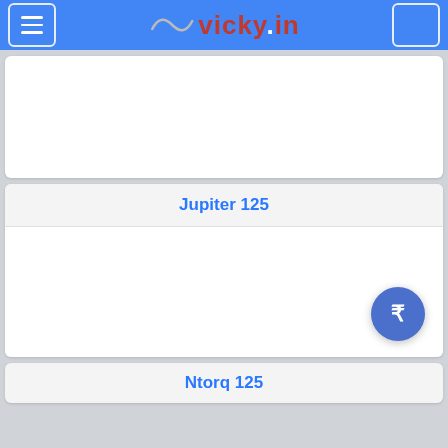vicky.in
[Figure (screenshot): Empty white image placeholder card]
Jupiter 125
[Figure (screenshot): White image area for Jupiter 125 with a blue rupee currency button in bottom right]
Ntorq 125